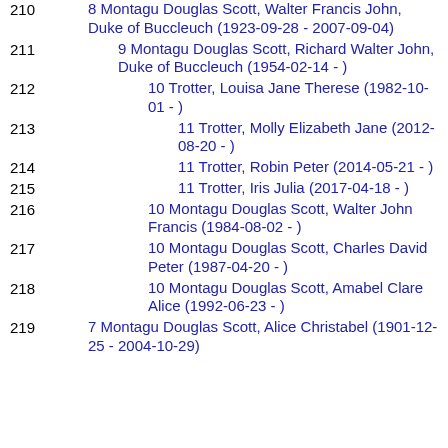210  8 Montagu Douglas Scott, Walter Francis John, Duke of Buccleuch (1923-09-28 - 2007-09-04)
211  9 Montagu Douglas Scott, Richard Walter John, Duke of Buccleuch (1954-02-14 - )
212  10 Trotter, Louisa Jane Therese (1982-10-01 - )
213  11 Trotter, Molly Elizabeth Jane (2012-08-20 - )
214  11 Trotter, Robin Peter (2014-05-21 - )
215  11 Trotter, Iris Julia (2017-04-18 - )
216  10 Montagu Douglas Scott, Walter John Francis (1984-08-02 - )
217  10 Montagu Douglas Scott, Charles David Peter (1987-04-20 - )
218  10 Montagu Douglas Scott, Amabel Clare Alice (1992-06-23 - )
219  7 Montagu Douglas Scott, Alice Christabel (1901-12-25 - 2004-10-29)